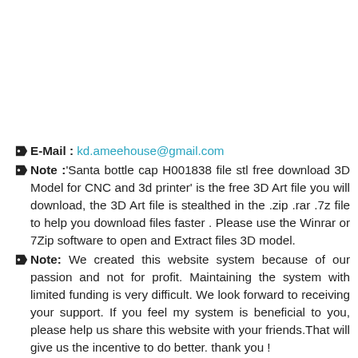E-Mail : kd.ameehouse@gmail.com
Note :'Santa bottle cap H001838 file stl free download 3D Model for CNC and 3d printer' is the free 3D Art file you will download, the 3D Art file is stealthed in the .zip .rar .7z file to help you download files faster . Please use the Winrar or 7Zip software to open and Extract files 3D model.
Note: We created this website system because of our passion and not for profit. Maintaining the system with limited funding is very difficult. We look forward to receiving your support. If you feel my system is beneficial to you, please help us share this website with your friends.That will give us the incentive to do better. thank you !